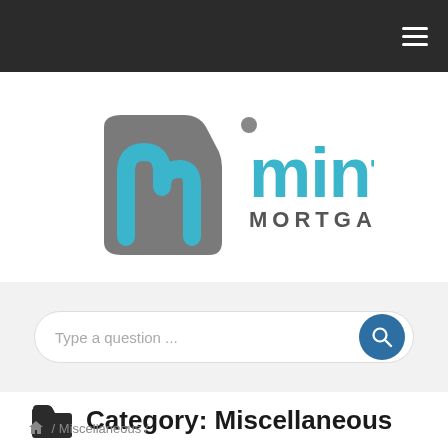Mint Mortgage navigation bar
[Figure (logo): Mint Mortgage logo with stylized 'm' letter in teal and gray colors, and 'mint MORTGAGE' text in teal and gray]
Type a question ...
Category: Miscellaneous
/ Miscellaneous /